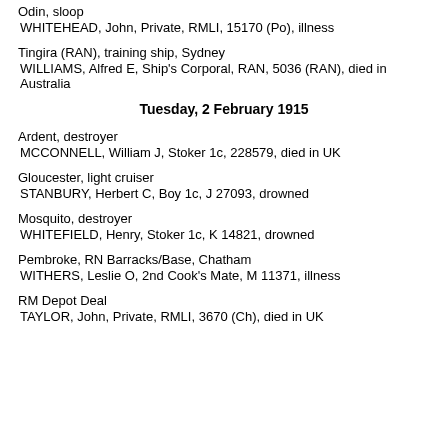Odin, sloop
 WHITEHEAD, John, Private, RMLI, 15170 (Po), illness
Tingira (RAN), training ship, Sydney
 WILLIAMS, Alfred E, Ship's Corporal, RAN, 5036 (RAN), died in Australia
Tuesday, 2 February 1915
Ardent, destroyer
 MCCONNELL, William J, Stoker 1c, 228579, died in UK
Gloucester, light cruiser
 STANBURY, Herbert C, Boy 1c, J 27093, drowned
Mosquito, destroyer
 WHITEFIELD, Henry, Stoker 1c, K 14821, drowned
Pembroke, RN Barracks/Base, Chatham
 WITHERS, Leslie O, 2nd Cook's Mate, M 11371, illness
RM Depot Deal
 TAYLOR, John, Private, RMLI, 3670 (Ch), died in UK